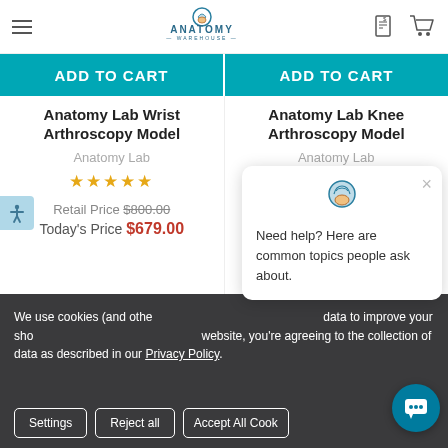Anatomy Warehouse
ADD TO CART
ADD TO CART
Anatomy Lab Wrist Arthroscopy Model
Anatomy Lab
★★★★★
Retail Price $800.00
Today's Price $679.00
Anatomy Lab Knee Arthroscopy Model
Anatomy Lab
★★★★★
Retail Price $840.00
Today's Price $714.00
Need help? Here are common topics people ask about.
We use cookies (and other similar technologies) to collect data to improve your shopping experience. By using our website, you're agreeing to the collection of data as described in our Privacy Policy.
Settings   Reject all   Accept All Cookies